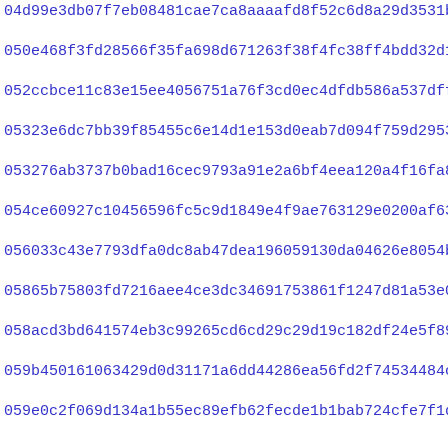04d99e3db07f7eb08481cae7ca8aaaafd8f52c6d8a29d3531b0f0406b1890
050e468f3fd28566f35fa698d671263f38f4fc38ff4bdd32d171e5aeeae3b
052ccbce11c83e15ee4056751a76f3cd0ec4dfdb586a537dff909caccb1b4
05323e6dc7bb39f85455c6e14d1e153d0eab7d094f759d2953e463766ff2e
053276ab3737b0bad16cec9793a91e2a6bf4eea120a4f16fa8ebd628497f6
054ce60927c10456596fc5c9d1849e4f9ae763129e0200af63057bdf69821
056033c43e7793dfa0dc8ab47dea196059130da04626e8054bfa103df3e16
05865b75803fd7216aee4ce3dc34691753861f1247d81a53e0c676dde4609
058acd3bd641574eb3c99265cd6cd29c29d19c182df24e5f896916043af3b
059b450161063429d0d31171a6dd44286ea56fd2f74534484cf6e9c5388b2
059e0c2f069d134a1b55ec89efb62fecde1b1bab724cfe7f1da68c1aaeb75